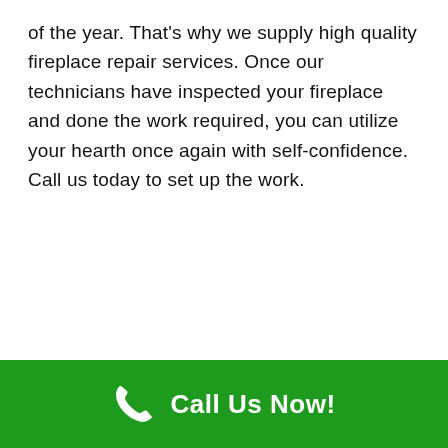of the year. That's why we supply high quality fireplace repair services. Once our technicians have inspected your fireplace and done the work required, you can utilize your hearth once again with self-confidence. Call us today to set up the work.
[Figure (other): Green footer bar with a white phone handset icon and bold white text reading 'Call Us Now!']